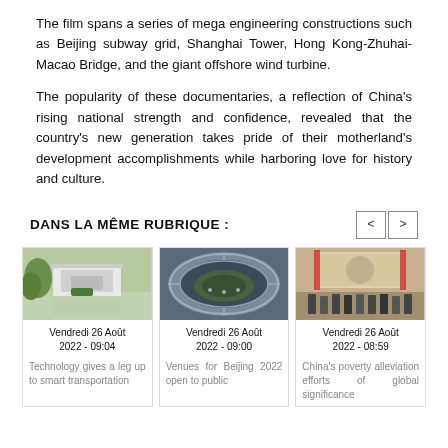The film spans a series of mega engineering constructions such as Beijing subway grid, Shanghai Tower, Hong Kong-Zhuhai-Macao Bridge, and the giant offshore wind turbine.
The popularity of these documentaries, a reflection of China's rising national strength and confidence, revealed that the country's new generation takes pride of their motherland's development accomplishments while harboring love for history and culture.
DANS LA MÊME RUBRIQUE :
[Figure (photo): Aerial or landscape photo of a building near water with greenery]
Vendredi 26 Août 2022 - 09:04
Technology gives a leg up to smart transportation
[Figure (photo): Interior of a large stadium with a circular roof structure]
Vendredi 26 Août 2022 - 09:00
Venues for Beijing 2022 open to public
[Figure (photo): Group of people standing in front of a banner/sign outdoors]
Vendredi 26 Août 2022 - 08:59
China's poverty alleviation efforts of global significance